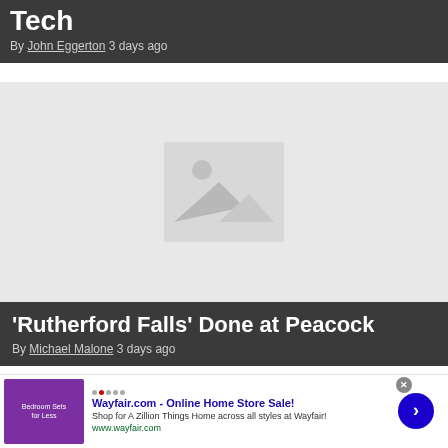Tech
By John Eggerton 3 days ago
[Figure (photo): Placeholder image with mountain and sun icon on light gray background]
'Rutherford Falls' Done at Peacock
By Michael Malone 3 days ago
Wayfair.com - Online Home Store Sale! Shop for A Zillion Things Home across all styles at Wayfair! www.wayfair.com